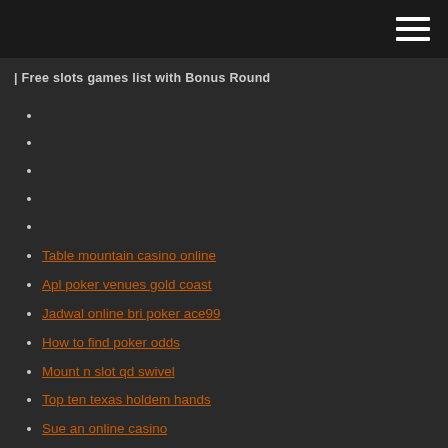Free slots games list with Bonus Round
Table mountain casino online
Apl poker venues gold coast
Jadwal online bri poker ace99
How to find poker odds
Mount n slot qd swivel
Top ten texas holdem hands
Sue an online casino
Casino sainte genevieve des bois